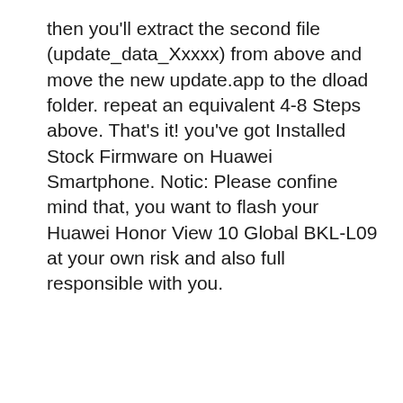then you'll extract the second file (update_data_Xxxxx) from above and move the new update.app to the dload folder. repeat an equivalent 4-8 Steps above. That's it! you've got Installed Stock Firmware on Huawei Smartphone. Notic: Please confine mind that, you want to flash your Huawei Honor View 10 Global BKL-L09 at your own risk and also full responsible with you.